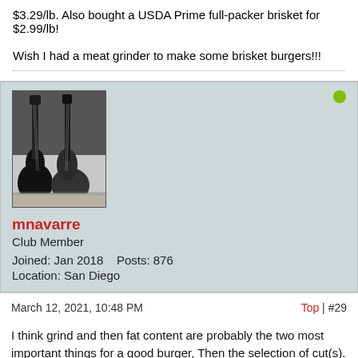$3.29/lb. Also bought a USDA Prime full-packer brisket for $2.99/lb!

Wish I had a meat grinder to make some brisket burgers!!!
[Figure (photo): Black and white photo of electric guitars leaning against a wall, used as forum user avatar for mnavarre]
mnavarre
Club Member
Joined: Jan 2018    Posts: 876
Location: San Diego
March 12, 2021, 10:48 PM
Top | #29
I think grind and then fat content are probably the two most important things for a good burger, Then the selection of cut(s). As long as you're buying decent meat with a decent fat content you'll be fine. I prefer to grind my own, usually just Choice chuck, because that way I control the grind and can add fat if I feel I need to. But, man, grinding up an untrimmed try-tip?